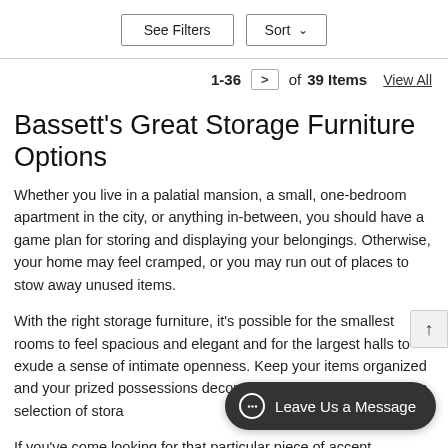See Filters  Sort
1-36 > of 39 Items  View All
Bassett's Great Storage Furniture Options
Whether you live in a palatial mansion, a small, one-bedroom apartment in the city, or anything in-between, you should have a game plan for storing and displaying your belongings. Otherwise, your home may feel cramped, or you may run out of places to stow away unused items.
With the right storage furniture, it's possible for the smallest rooms to feel spacious and elegant and for the largest halls to exude a sense of intimate openness. Keep your items organized and your prized possessions decorated cleanly with our massive selection of stora
If you've come looking for that particular piece of accent